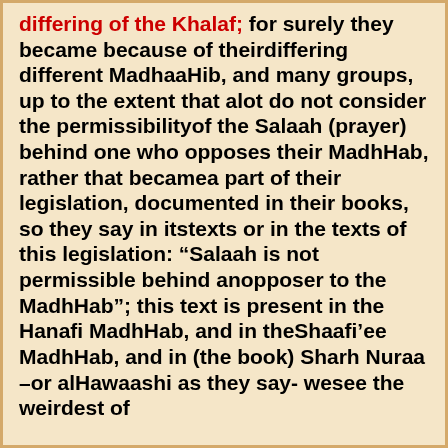differing of the Khalaf; for surely they became because of theirdiffering different MadhaaHib, and many groups, up to the extent that alot do not consider the permissibilityof the Salaah (prayer) behind one who opposes their MadhHab, rather that becamea part of their legislation, documented in their books, so they say in itstexts or in the texts of this legislation: “Salaah is not permissible behind anopposer to the MadhHab”; this text is present in the Hanafi MadhHab, and in theShaafi’ee MadhHab, and in (the book) Sharh Nuraa –or alHawaashi as they say- wesee the weirdest of